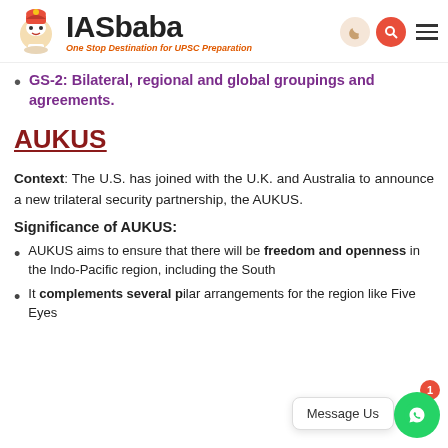IASbaba — One Stop Destination for UPSC Preparation
GS-2: Bilateral, regional and global groupings and agreements.
AUKUS
Context: The U.S. has joined with the U.K. and Australia to announce a new trilateral security partnership, the AUKUS.
Significance of AUKUS:
AUKUS aims to ensure that there will be freedom and openness in the Indo-Pacific region, including the South
It complements several p... arrangements for the region like Five Eyes